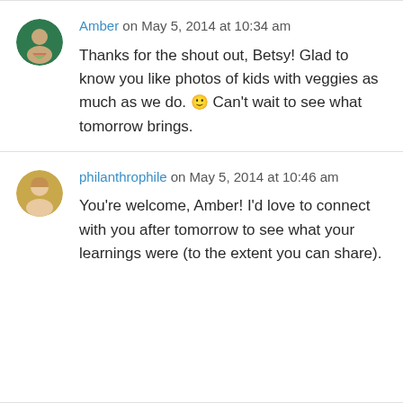Amber on May 5, 2014 at 10:34 am
Thanks for the shout out, Betsy! Glad to know you like photos of kids with veggies as much as we do. 🙂 Can't wait to see what tomorrow brings.
philanthrophile on May 5, 2014 at 10:46 am
You're welcome, Amber! I'd love to connect with you after tomorrow to see what your learnings were (to the extent you can share).